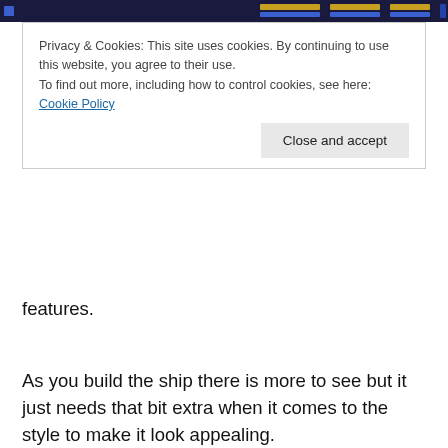[Figure (screenshot): Dark blue game interface screenshot strip at the top of the page]
Privacy & Cookies: This site uses cookies. By continuing to use this website, you agree to their use.
To find out more, including how to control cookies, see here: Cookie Policy
[Close and accept button]
features.
As you build the ship there is more to see but it just needs that bit extra when it comes to the style to make it look appealing.
Sounds are possibly the worst part, no voice interaction, just a few odd space sounds (effects you associate with space exploration) no music to speak of and menus that have harsh ringing tones when things are selected and changed twice as loud as the rest of the sound effects.